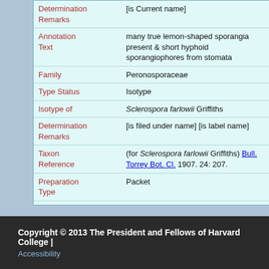| Field | Value |
| --- | --- |
| Determination Remarks | [is Current name] |
| Annotation Text | many true lemon-shaped sporangia present & short hyphoid sporangiophores from stomata |
| Family | Peronosporaceae |
| Type Status | Isotype |
| Isotype of | Sclerospora farlowii Griffiths |
| Determination Remarks | [is filed under name] [is label name] |
| Taxon Reference | (for Sclerospora farlowii Griffiths) Bull. Torrey Bot. Cl. 1907. 24: 207. |
| Preparation Type | Packet |
| Preparation Method | Dried |
Copyright © 2013 The President and Fellows of Harvard College | Accessibility